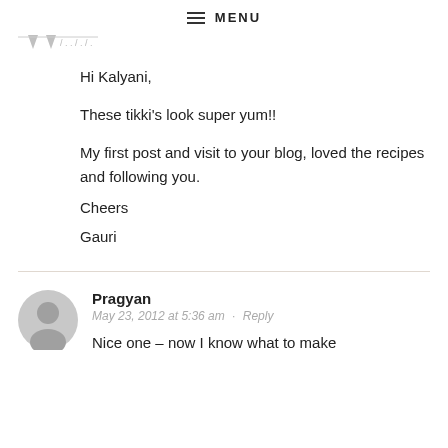MENU
[Figure (illustration): Decorative triangular banner bunting in light gray]
Hi Kalyani,

These tikki's look super yum!!

My first post and visit to your blog, loved the recipes and following you.
Cheers
Gauri
Pragyan
May 23, 2012 at 5:36 am · Reply
Nice one – now I know what to make